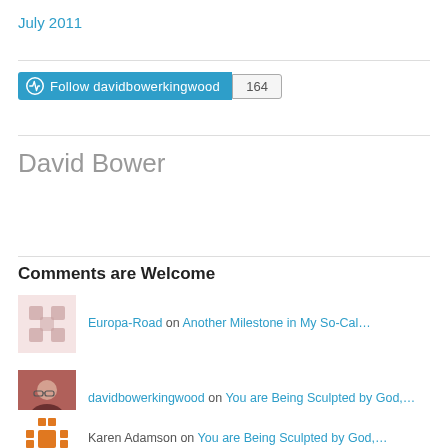July 2011
[Figure (other): Follow davidbowerkingwood button with count 164]
David Bower
Comments are Welcome
Europa-Road on Another Milestone in My So-Cal…
davidbowerkingwood on You are Being Sculpted by God,…
Karen Adamson on You are Being Sculpted by God,…